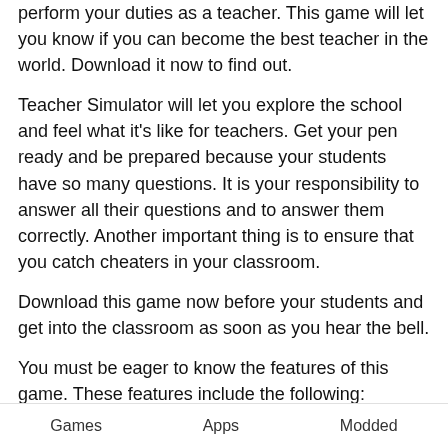perform your duties as a teacher. This game will let you know if you can become the best teacher in the world. Download it now to find out.
Teacher Simulator will let you explore the school and feel what it's like for teachers. Get your pen ready and be prepared because your students have so many questions. It is your responsibility to answer all their questions and to answer them correctly. Another important thing is to ensure that you catch cheaters in your classroom.
Download this game now before your students and get into the classroom as soon as you hear the bell.
You must be eager to know the features of this game. These features include the following:
Challenge your students with different questions
Games   Apps   Modded